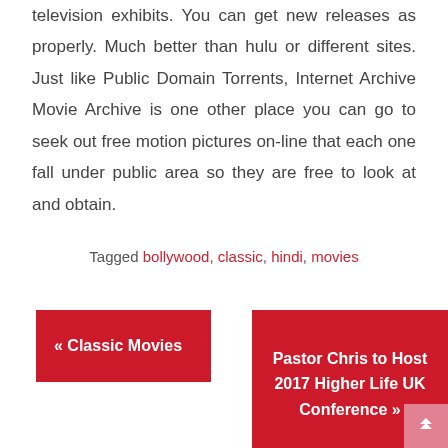television exhibits. You can get new releases as properly. Much better than hulu or different sites. Just like Public Domain Torrents, Internet Archive Movie Archive is one other place you can go to seek out free motion pictures on-line that each one fall under public area so they are free to look at and obtain.
Tagged bollywood, classic, hindi, movies
« Classic Movies
Pastor Chris to Host 2017 Higher Life UK Conference »